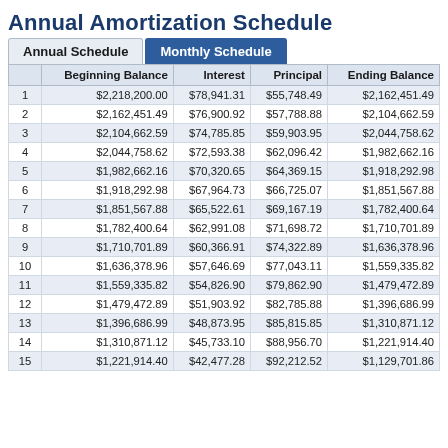Annual Amortization Schedule
|  | Beginning Balance | Interest | Principal | Ending Balance |
| --- | --- | --- | --- | --- |
| 1 | $2,218,200.00 | $78,941.31 | $55,748.49 | $2,162,451.49 |
| 2 | $2,162,451.49 | $76,900.92 | $57,788.88 | $2,104,662.59 |
| 3 | $2,104,662.59 | $74,785.85 | $59,903.95 | $2,044,758.62 |
| 4 | $2,044,758.62 | $72,593.38 | $62,096.42 | $1,982,662.16 |
| 5 | $1,982,662.16 | $70,320.65 | $64,369.15 | $1,918,292.98 |
| 6 | $1,918,292.98 | $67,964.73 | $66,725.07 | $1,851,567.88 |
| 7 | $1,851,567.88 | $65,522.61 | $69,167.19 | $1,782,400.64 |
| 8 | $1,782,400.64 | $62,991.08 | $71,698.72 | $1,710,701.89 |
| 9 | $1,710,701.89 | $60,366.91 | $74,322.89 | $1,636,378.96 |
| 10 | $1,636,378.96 | $57,646.69 | $77,043.11 | $1,559,335.82 |
| 11 | $1,559,335.82 | $54,826.90 | $79,862.90 | $1,479,472.89 |
| 12 | $1,479,472.89 | $51,903.92 | $82,785.88 | $1,396,686.99 |
| 13 | $1,396,686.99 | $48,873.95 | $85,815.85 | $1,310,871.12 |
| 14 | $1,310,871.12 | $45,733.10 | $88,956.70 | $1,221,914.40 |
| 15 | $1,221,914.40 | $42,477.28 | $92,212.52 | $1,129,701.86 |